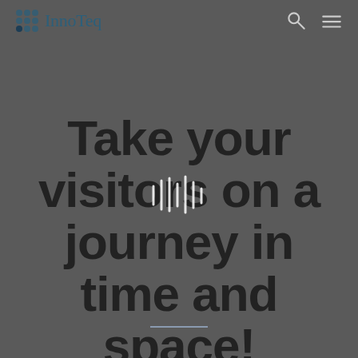[Figure (logo): InnoTeq logo with grid of circles icon and text]
Take your visitors on a journey in time and space!